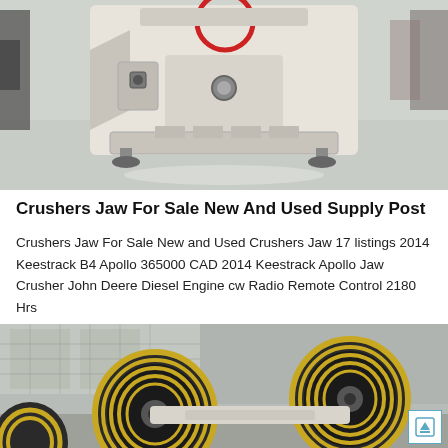[Figure (photo): Close-up photo of a jaw crusher machine, cream/beige colored body with a red circle accent on top, mounted in an industrial warehouse with grey floor.]
Crushers Jaw For Sale New And Used Supply Post
Crushers Jaw For Sale New and Used Crushers Jaw 17 listings 2014 Keestrack B4 Apollo 365000 CAD 2014 Keestrack Apollo Jaw Crusher John Deere Diesel Engine cw Radio Remote Control 2180 Hrs
[Figure (photo): Photo of jaw crusher flywheel pulleys - large black and yellow ribbed belt wheels on a crusher frame, industrial warehouse background.]